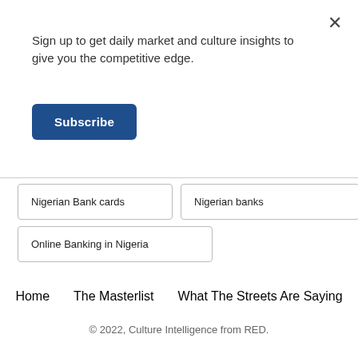×
Sign up to get daily market and culture insights to give you the competitive edge.
Subscribe
Nigerian Bank cards
Nigerian banks
Online Banking in Nigeria
Home   The Masterlist   What The Streets Are Saying
© 2022, Culture Intelligence from RED.